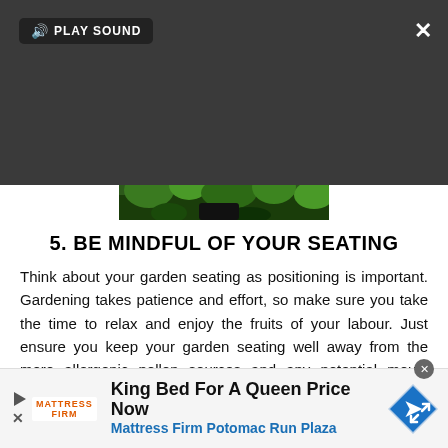[Figure (screenshot): Video player overlay on dark gray background showing a loading spinner and a 'PLAY SOUND' button. A close (X) button is in the top right and an expand button in the bottom right. Below the player is a partial garden photo.]
5. BE MINDFUL OF YOUR SEATING
Think about your garden seating as positioning is important. Gardening takes patience and effort, so make sure you take the time to relax and enjoy the fruits of your labour. Just ensure you keep your garden seating well away from the more allergenic pollen sources and any potential mould spores.
[Figure (screenshot): Advertisement banner for Mattress Firm: 'King Bed For A Queen Price Now' with subtext 'Mattress Firm Potomac Run Plaza'. Mattress Firm logo on left, blue diamond navigation icon on right.]